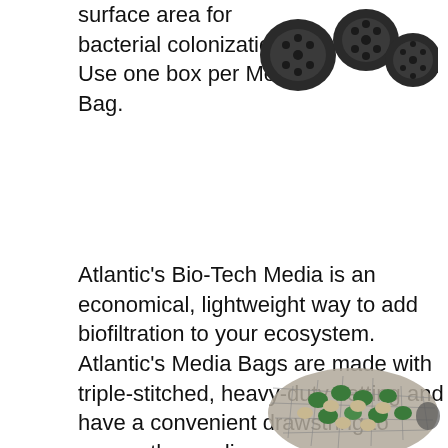surface area for bacterial colonization. Use one box per Media Bag.
[Figure (photo): Multiple black cylindrical bio-tech media pieces arranged in a group, showing their tubular honeycomb structure]
Atlantic's Bio-Tech Media is an economical, lightweight way to add biofiltration to your ecosystem. Atlantic's Media Bags are made with triple-stitched, heavy-duty netting and have a convenient drawstring to secure the media
[Figure (photo): A mesh media bag filled with green and beige bio-tech media pieces, showing the netting texture and drawstring closure]